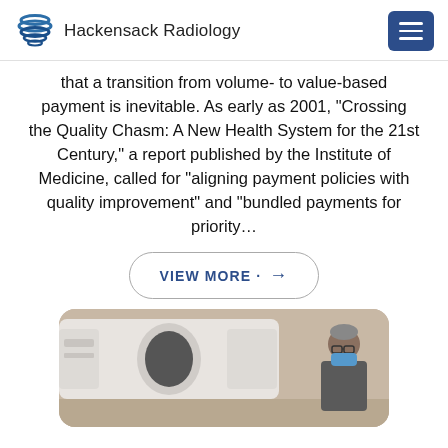Hackensack Radiology
that a transition from volume- to value-based payment is inevitable. As early as 2001, “Crossing the Quality Chasm: A New Health System for the 21st Century,” a report published by the Institute of Medicine, called for “aligning payment policies with quality improvement” and “bundled payments for priority…
VIEW MORE →
[Figure (photo): A medical professional in a mask standing next to a large MRI or CT scanner machine in a clinical setting.]